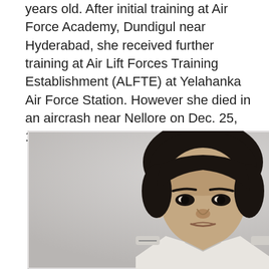years old. After initial training at Air Force Academy, Dundigul near Hyderabad, she received further training at Air Lift Forces Training Establishment (ALFTE) at Yelahanka Air Force Station. However she died in an aircrash near Nellore on Dec. 25, 1996.
[Figure (photo): Black and white portrait photograph of a young woman in a military/aviation uniform with a collar and epaulettes, looking directly at the camera.]